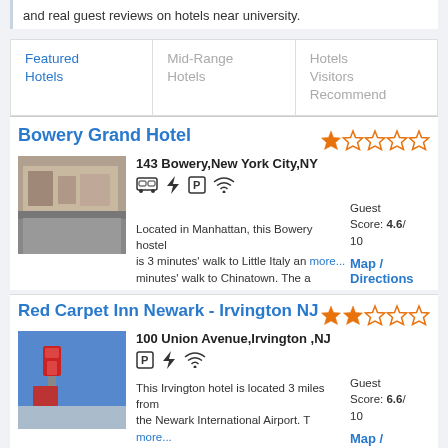and real guest reviews on hotels near university.
Featured Hotels
Mid-Range Hotels
Hotels Visitors Recommend
Bowery Grand Hotel
143 Bowery,New York City,NY
Guest Score: 4.6/10
Located in Manhattan, this Bowery hostel is 3 minutes' walk to Little Italy and minutes' walk to Chinatown. The a more...
Map / Directions
Red Carpet Inn Newark - Irvington NJ
100 Union Avenue,Irvington ,NJ
Guest Score: 6.6/10
This Irvington hotel is located 3 miles from the Newark International Airport. T hotel also offers a business center, more...
Map / Directions